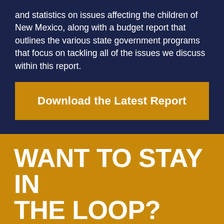and statistics on issues affecting the children of New Mexico, along with a budget report that outlines the various state government programs that focus on tackling all of the issues we discuss within this report.
Download the Latest Report
WANT TO STAY IN THE LOOP?
Sign up for updates for the Children's Cabinet below.